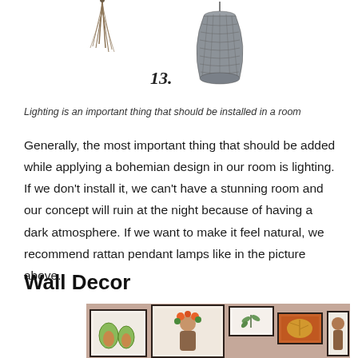[Figure (illustration): Illustration of a rattan pendant lamp with item number 13 below it, and a small tassel/feather element to the left]
Lighting is an important thing that should be installed in a room
Generally, the most important thing that should be added while applying a bohemian design in our room is lighting. If we don't install it, we can't have a stunning room and our concept will ruin at the night because of having a dark atmosphere. If we want to make it feel natural, we recommend rattan pendant lamps like in the picture above.
Wall Decor
[Figure (photo): Photo of a gallery wall displaying several framed artworks including botanical prints, a woman with flowers portrait, and leaf illustrations on a dusty rose/mauve wall]